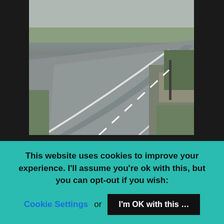[Figure (photo): A winding asphalt road curving through hills with guardrail and greenery on the right side]
great roads through the hills and …
[Figure (photo): A cloudy sky with grey-white clouds filling most of the frame]
This website uses cookies to improve your experience. I'll assume you're ok with this, but you can opt-out if you wish:
Cookie Settings or I'm OK with this ...